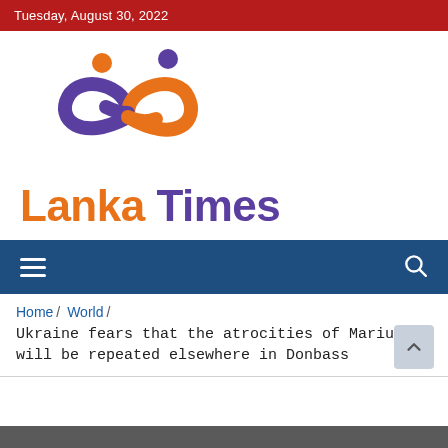Tuesday, August 30, 2022
[Figure (logo): Lanka Times logo: infinity symbol made of orange and purple ribbon shapes with two human figures on top, with text 'Lanka Times' below in orange and purple]
[Figure (screenshot): Navigation bar with hamburger menu icon on left and search icon on right, dark blue background]
Home / World /
Ukraine fears that the atrocities of Mariupol will be repeated elsewhere in Donbass